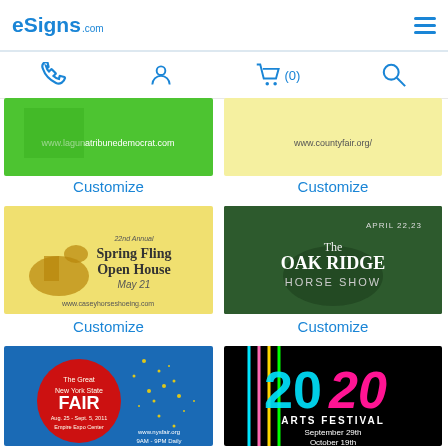eSigns.com
[Figure (screenshot): Green banner for lagunatribunedemocrat.com (partially visible)]
Customize
[Figure (screenshot): Yellow banner for countyfair.org (partially visible)]
Customize
[Figure (screenshot): Yellow banner: 22nd Annual Spring Fling Open House May 21 www.caseyhorseshoeing.com]
Customize
[Figure (screenshot): Dark green banner: The Oak Ridge Horse Show April 22,23]
Customize
[Figure (screenshot): Blue banner: The Great New York State FAIR Aug. 25 - Sept. 5, 2011 Empire Expo Center www.nysfair.org 9AM-9PM Daily]
[Figure (screenshot): Black banner: 2020 Arts Festival September 29th October 19th]